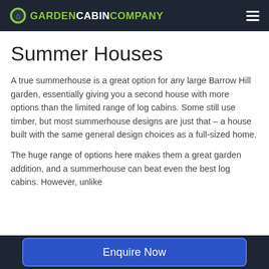GARDEN CABIN COMPANY
Summer Houses
A true summerhouse is a great option for any large Barrow Hill garden, essentially giving you a second house with more options than the limited range of log cabins. Some still use timber, but most summerhouse designs are just that – a house built with the same general design choices as a full-sized home.
The huge range of options here makes them a great garden addition, and a summerhouse can beat even the best log cabins. However, unlike
Enquire Now